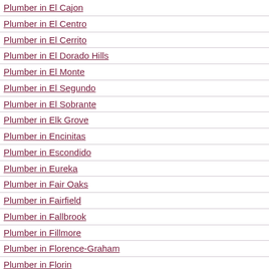Plumber in El Cajon
Plumber in El Centro
Plumber in El Cerrito
Plumber in El Dorado Hills
Plumber in El Monte
Plumber in El Segundo
Plumber in El Sobrante
Plumber in Elk Grove
Plumber in Encinitas
Plumber in Escondido
Plumber in Eureka
Plumber in Fair Oaks
Plumber in Fairfield
Plumber in Fallbrook
Plumber in Fillmore
Plumber in Florence-Graham
Plumber in Florin
Plumber in Folsom
Plumber in Fontana
Plumber in Foothill Farms
Plumber in Foothill Ranch
Plumber in Fortuna
Plumber in Foster
Plumber in Fountain Valley
Plumber in Fremont
Plumber in Fresno
Plumber in Fullerton
Plumber in Galt
Plumber in Garden Acres